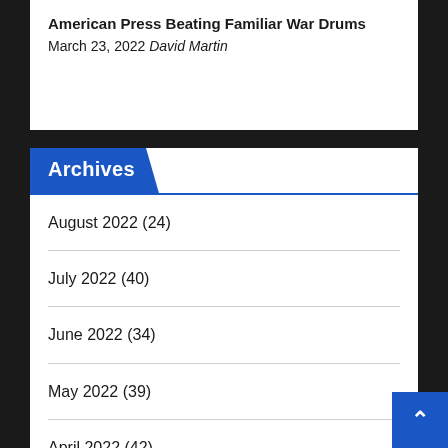American Press Beating Familiar War Drums
March 23, 2022 David Martin
Archives
August 2022 (24)
July 2022 (40)
June 2022 (34)
May 2022 (39)
April 2022 (42)
March 2022 (37)